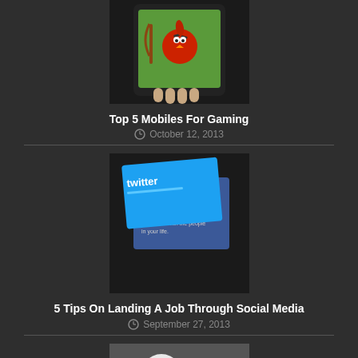[Figure (photo): Person holding a tablet playing Angry Birds game]
Top 5 Mobiles For Gaming
October 12, 2013
[Figure (photo): Twitter and Facebook social media logos/pages overlapping]
5 Tips On Landing A Job Through Social Media
September 27, 2013
[Figure (photo): Two Star Wars Stormtrooper figurines/costumes in black and white]
Coolest Gadgets From The “Star Wars”